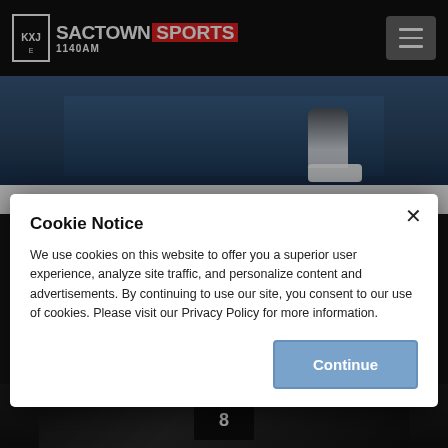SACTOWN SPORTS 1140AM
[Figure (photo): Sports photo partially visible behind cookie modal — athlete running, white sneakers visible]
Sporting News' Vinnie Iyer On
Cookie Notice

We use cookies on this website to offer you a superior user experience, analyze site traffic, and personalize content and advertisements. By continuing to use our site, you consent to our use of cookies. Please visit our Privacy Policy for more information.
[Figure (photo): Sports photo at bottom partially visible — player in dark jersey with number 8 visible]